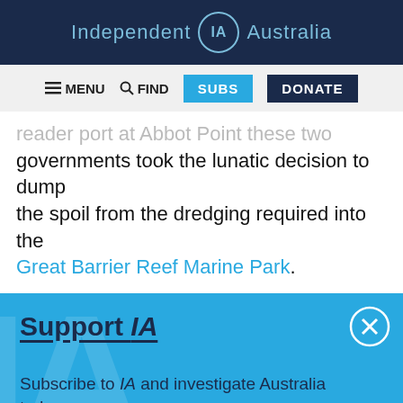Independent IA Australia
≡ MENU  🔍 FIND  SUBS  DONATE
reader port at Abbot Point these two governments took the lunatic decision to dump the spoil from the dredging required into the Great Barrier Reef Marine Park.
Support IA
Subscribe to IA and investigate Australia today.
Close  Subscribe  Donate
Twitter  Facebook  LinkedIn  Flipboard  Share  More